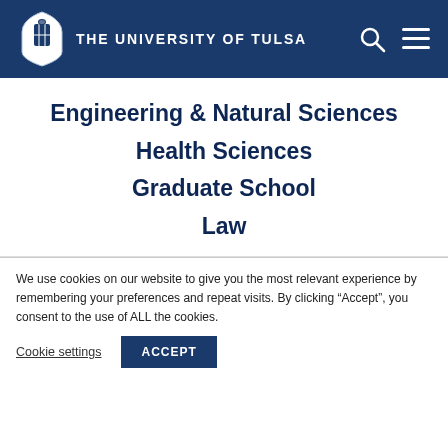THE UNIVERSITY OF TULSA
Engineering & Natural Sciences
Health Sciences
Graduate School
Law
We use cookies on our website to give you the most relevant experience by remembering your preferences and repeat visits. By clicking "Accept", you consent to the use of ALL the cookies.
Cookie settings | ACCEPT